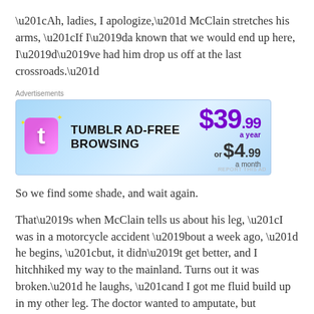“Ah, ladies, I apologize,” McClain stretches his arms, “If I’da known that we would end up here, I’d’ve had him drop us off at the last crossroads.”
[Figure (screenshot): Tumblr ad-free browsing advertisement banner showing price of $39.99 a year or $4.99 a month]
So we find some shade, and wait again.
That’s when McClain tells us about his leg, “I was in a motorcycle accident ’bout a week ago, ” he begins, “but, it didn’t get better, and I hitchhiked my way to the mainland. Turns out it was broken.” he laughs, “and I got me fluid build up in my other leg. The doctor wanted to amputate, but life’s shit enough with two legs in’t it? So I got meself some antibiotics and a hammock and me two legs, they work just fine.”